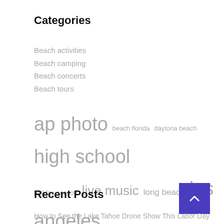Categories
Beach activities
Beach camping
Beach concerts
Beach tours
ap photo  beach florida  daytona beach  high school  holiday season  live music  long beach  los angeles  national park  north carolina  palm beach  state park  takes place  time year  united states
Recent Posts
How to See the Lake Tahoe Drone Show This Labor Day